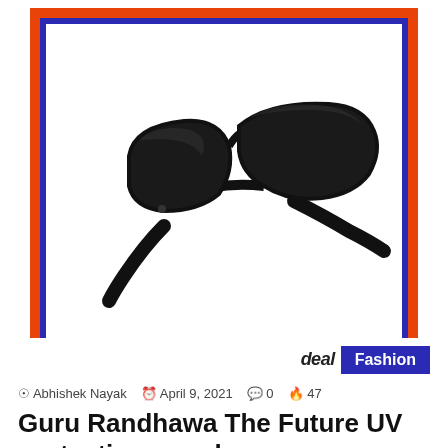[Figure (photo): Black futuristic UV protection sunglasses shown at an angle on white background inside a card with blue and orange border. Brand card has 'deal' logo and 'Fashion' badge.]
deal Fashion
Abhishek Nayak  April 9, 2021  0  47
Guru Randhawa The Future UV protection sunglass